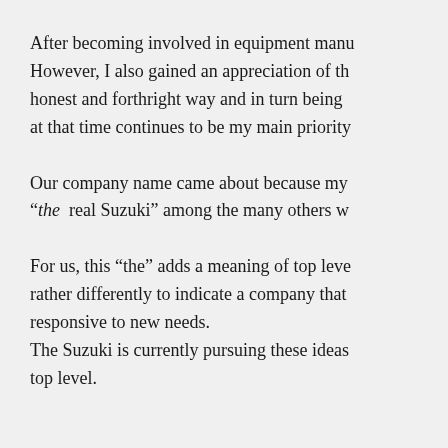After becoming involved in equipment manu. However, I also gained an appreciation of the honest and forthright way and in turn being at that time continues to be my main priority.
Our company name came about because my “the real Suzuki” among the many others w.
For us, this “the” adds a meaning of top level rather differently to indicate a company that responsive to new needs. The Suzuki is currently pursuing these ideas top level.